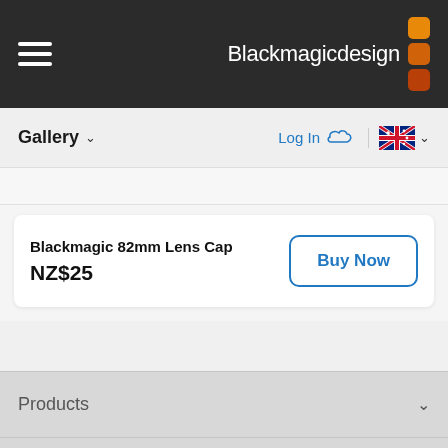Blackmagicdesign
Gallery
Log In
Blackmagic 82mm Lens Cap NZ$25
Buy Now
Products
Support
Community